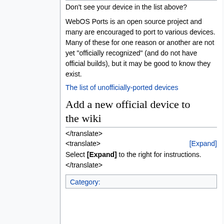Don't see your device in the list above?
WebOS Ports is an open source project and many are encouraged to port to various devices. Many of these for one reason or another are not yet "officially recognized" (and do not have official builds), but it may be good to know they exist.
The list of unofficially-ported devices
Add a new official device to the wiki
</translate>
<translate>   [Expand]
Select [Expand] to the right for instructions.</translate>
Category: